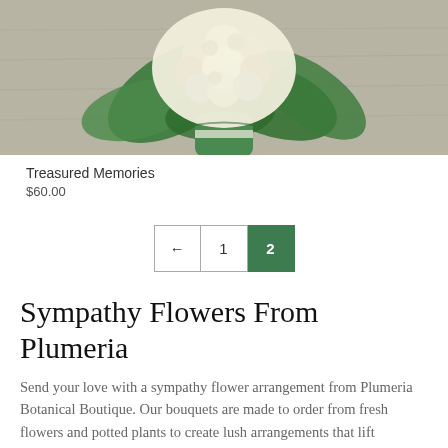[Figure (photo): A white hydrangea flower arrangement in a green striped vase on a wooden surface, viewed from above/slightly cropped at top]
Treasured Memories
$60.00
[Figure (other): Pagination controls: left arrow button, page 1 button, page 2 button (active/highlighted in green)]
Sympathy Flowers From Plumeria
Send your love with a sympathy flower arrangement from Plumeria Botanical Boutique. Our bouquets are made to order from fresh flowers and potted plants to create lush arrangements that lift